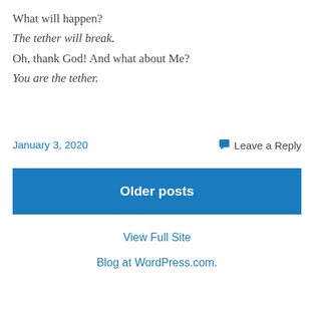What will happen?
The tether will break.
Oh, thank God! And what about Me?
You are the tether.
January 3, 2020
Leave a Reply
Older posts
View Full Site
Blog at WordPress.com.